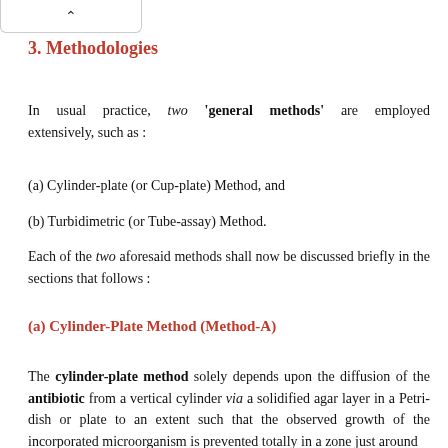^
3. Methodologies
In usual practice, two 'general methods' are employed extensively, such as :
(a) Cylinder-plate (or Cup-plate) Method, and
(b) Turbidimetric (or Tube-assay) Method.
Each of the two aforesaid methods shall now be discussed briefly in the sections that follows :
(a) Cylinder-Plate Method (Method-A)
The cylinder-plate method solely depends upon the diffusion of the antibiotic from a vertical cylinder via a solidified agar layer in a Petri-dish or plate to an extent such that the observed growth of the incorporated microorganism is prevented totally in a zone just around the cylinder containing solution of the antibiotic.